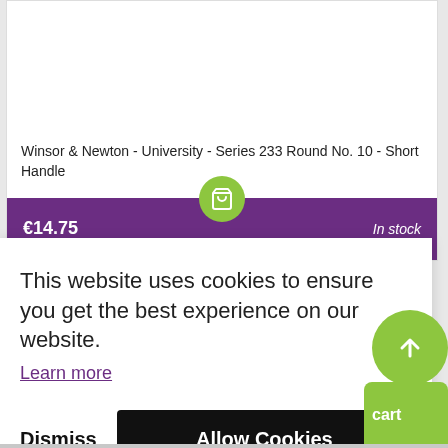Winsor & Newton - University - Series 233 Round No. 10 - Short Handle
€14.75    In stock
This website uses cookies to ensure you get the best experience on our website.
Learn more
Dismiss
Allow Cookies